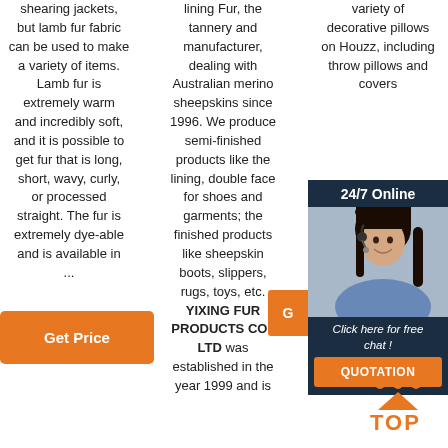shearing jackets, but lamb fur fabric can be used to make a variety of items. Lamb fur is extremely warm and incredibly soft, and it is possible to get fur that is long, short, wavy, curly, or processed straight. The fur is extremely dye-able and is available in ...
lining Fur, the tannery and manufacturer, dealing with Australian merino sheepskins since 1996. We produce semi-finished products like the lining, double face for shoes and garments; the finished products like sheepskin boots, slippers, rugs, toys, etc. YIXING FUR PRODUCTS CO., LTD was established in the year 1999 and is
variety of decorative pillows on Houzz, including throw pillows and covers
[Figure (screenshot): 24/7 Online chat widget with woman wearing headset]
Get Price
Get Price (orange button in col1)
[Figure (logo): TOP back-to-top icon with orange dots and arrow]